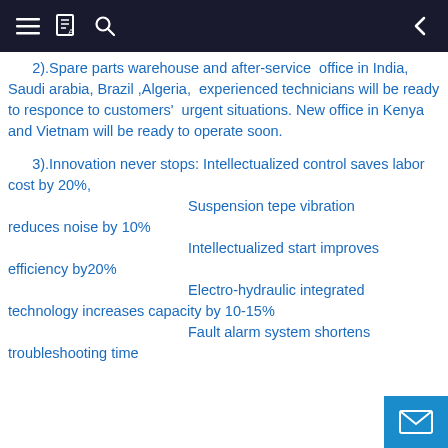Navigation bar with menu, book/translate icon, search, and back arrow
2).Spare parts warehouse and after-service office in India, Saudi arabia, Brazil ,Algeria, experienced technicians will be ready to responce to customers' urgent situations. New office in Kenya and Vietnam will be ready to operate soon.
3).Innovation never stops: Intellectualized control saves labor cost by 20%, Suspension tepe vibration reduces noise by 10% Intellectualized start improves efficiency by20% Electro-hydraulic integrated technology increases capacity by 10-15% Fault alarm system shortens troubleshooting time